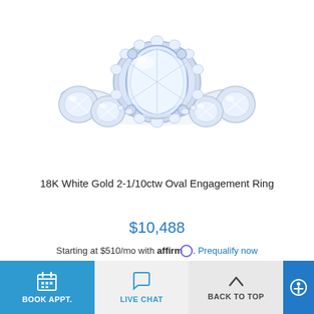[Figure (photo): Diamond engagement ring with oval center stone, halo setting, and large round diamonds along the band, photographed on white background]
18K White Gold 2-1/10ctw Oval Engagement Ring
$10,488
Starting at $510/mo with affirm. Prequalify now
BOOK APPT.
LIVE CHAT
BACK TO TOP